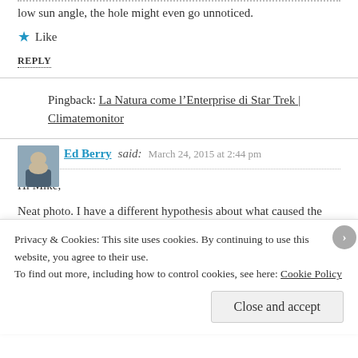low sun angle, the hole might even go unnoticed.
Like
REPLY
Pingback: La Natura come l’Enterprise di Star Trek | Climatemonitor
Ed Berry said:
March 24, 2015 at 2:44 pm
Hi Mike,
Neat photo. I have a different hypothesis about what caused the hole: Ascending air caused by the latent heat
Privacy & Cookies: This site uses cookies. By continuing to use this website, you agree to their use.
To find out more, including how to control cookies, see here: Cookie Policy
Close and accept